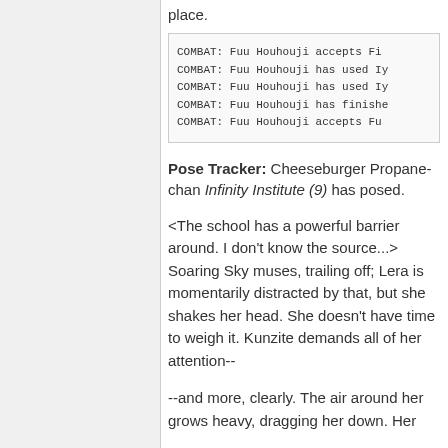place.
COMBAT: Fuu Houhouji accepts Fi...
COMBAT: Fuu Houhouji has used Iy...
COMBAT: Fuu Houhouji has used Iy...
COMBAT: Fuu Houhouji has finishe...
COMBAT: Fuu Houhouji accepts Fu...
Pose Tracker: Cheeseburger Propane-chan Infinity Institute (9) has posed.
<The school has a powerful barrier around. I don't know the source...> Soaring Sky muses, trailing off; Lera is momentarily distracted by that, but she shakes her head. She doesn't have time to weigh it. Kunzite demands all of her attention--
--and more, clearly. The air around her grows heavy, dragging her down. Her